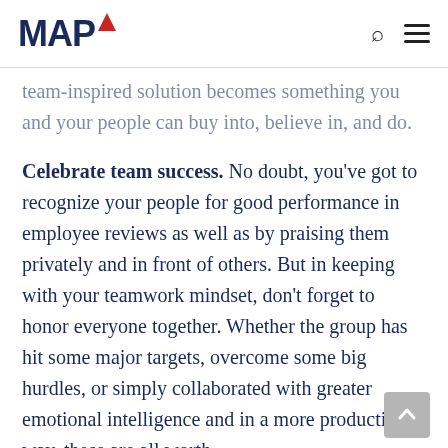MAP
team-inspired solution becomes something you and your people can buy into, believe in, and do.
Celebrate team success. No doubt, you've got to recognize your people for good performance in employee reviews as well as by praising them privately and in front of others. But in keeping with your teamwork mindset, don't forget to honor everyone together. Whether the group has hit some major targets, overcome some big hurdles, or simply collaborated with greater emotional intelligence and in a more productive way, these are all worth